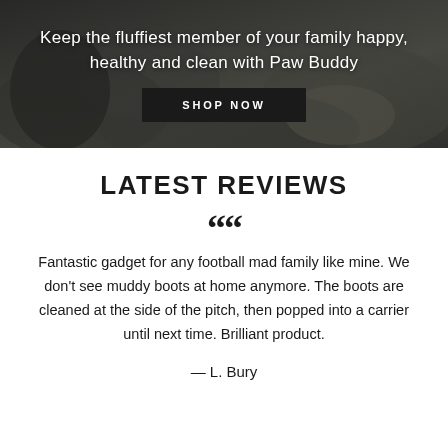[Figure (photo): Dark outdoor background photo showing a dog's paw and colorful toy on gravel, overlaid with white text and a black Shop Now button]
Keep the fluffiest member of your family happy, healthy and clean with Paw Buddy
SHOP NOW
LATEST REVIEWS
““
Fantastic gadget for any football mad family like mine. We don't see muddy boots at home anymore. The boots are cleaned at the side of the pitch, then popped into a carrier until next time. Brilliant product.
— L. Bury